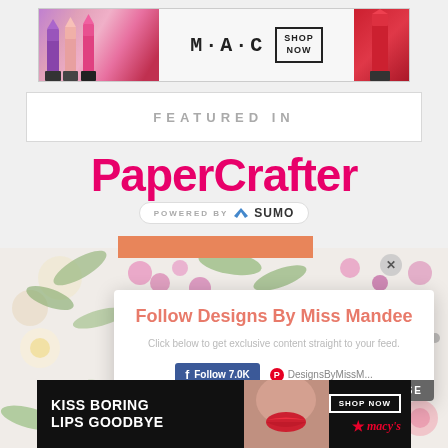[Figure (photo): MAC cosmetics advertisement banner showing colorful lipsticks on left, MAC logo in center, SHOP NOW button, and red lipstick on right]
FEATURED IN
[Figure (logo): PaperCrafter magazine logo in bold pink/magenta font with 'POWERED BY SUMO' badge below]
[Figure (photo): Floral background with pink and white flowers, green leaves on white surface]
[Figure (infographic): Follow Designs By Miss Mandee popup modal with Facebook Follow 7.0K button and Pinterest DesignsByMissM button, with CLOSE button]
[Figure (photo): Macy's advertisement showing woman with red lips, text KISS BORING LIPS GOODBYE, SHOP NOW button and Macy's star logo]